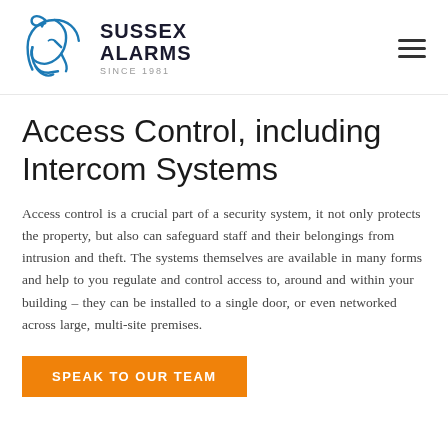[Figure (logo): Sussex Alarms logo: blue line-art Roman/knight helmet facing left, with brand name 'SUSSEX ALARMS' in bold dark text and 'SINCE 1981' in grey spaced caps below]
Access Control, including Intercom Systems
Access control is a crucial part of a security system, it not only protects the property, but also can safeguard staff and their belongings from intrusion and theft. The systems themselves are available in many forms and help to you regulate and control access to, around and within your building – they can be installed to a single door, or even networked across large, multi-site premises.
SPEAK TO OUR TEAM